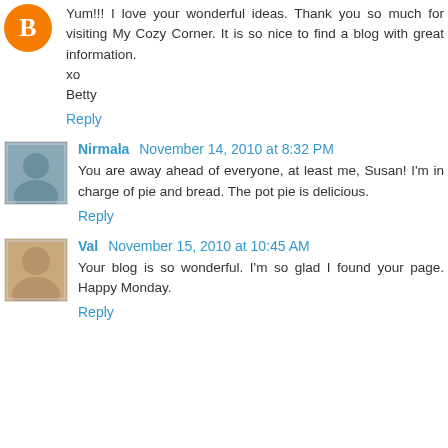Yum!!! I love your wonderful ideas. Thank you so much for visiting My Cozy Corner. It is so nice to find a blog with great information.
xo
Betty
Reply
Nirmala November 14, 2010 at 8:32 PM
You are away ahead of everyone, at least me, Susan! I'm in charge of pie and bread. The pot pie is delicious.
Reply
Val November 15, 2010 at 10:45 AM
Your blog is so wonderful. I'm so glad I found your page. Happy Monday.
Reply